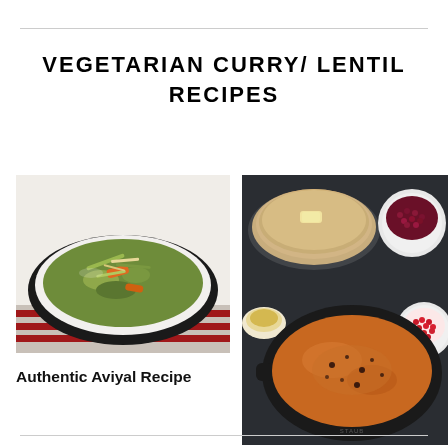VEGETARIAN CURRY/ LENTIL RECIPES
[Figure (photo): A bowl of Aviyal curry with vegetables including carrots and green items, served in a white and black bowl on a striped cloth]
Authentic Aviyal Recipe
[Figure (photo): A cast iron pan with thick lentil dal curry, surrounded by flatbreads with butter, a bowl of dark cooked lentils, and a bowl of pomegranate seeds, on a dark background]